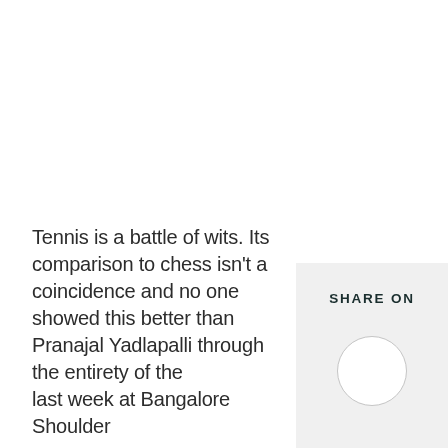Tennis is a battle of wits. Its comparison to chess isn't a coincidence and no one showed this better than Pranajal Yadlapalli through the entirety of the last week at Bangalore Shoulder
SHARE ON